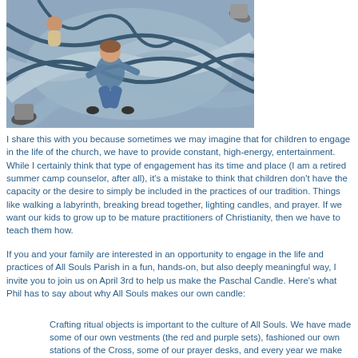[Figure (photo): Overhead view of children sitting/playing on a large painted labyrinth floor design in blue and grey tones, with adults' feet visible at the edges.]
I share this with you because sometimes we may imagine that for children to engage in the life of the church, we have to provide constant, high-energy, entertainment. While I certainly think that type of engagement has its time and place (I am a retired summer camp counselor, after all), it's a mistake to think that children don't have the capacity or the desire to simply be included in the practices of our tradition. Things like walking a labyrinth, breaking bread together, lighting candles, and prayer. If we want our kids to grow up to be mature practitioners of Christianity, then we have to teach them how.
If you and your family are interested in an opportunity to engage in the life and practices of All Souls Parish in a fun, hands-on, but also deeply meaningful way, I invite you to join us on April 3rd to help us make the Paschal Candle. Here's what Phil has to say about why All Souls makes our own candle:
Crafting ritual objects is important to the culture of All Souls. We have made some of our own vestments (the red and purple sets), fashioned our own stations of the Cross, some of our prayer desks, and every year we make those clay crosses. Former All